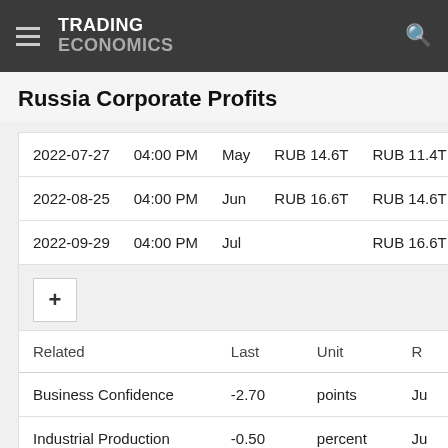TRADING ECONOMICS
Russia Corporate Profits
| Date | Time | Period | Actual | Previous |
| --- | --- | --- | --- | --- |
| 2022-07-27 | 04:00 PM | May | RUB 14.6T | RUB 11.4T |
| 2022-08-25 | 04:00 PM | Jun | RUB 16.6T | RUB 14.6T |
| 2022-09-29 | 04:00 PM | Jul |  | RUB 16.6T |
| Related | Last | Unit | R |
| --- | --- | --- | --- |
| Business Confidence | -2.70 | points | Ju |
| Industrial Production | -0.50 | percent | Ju |